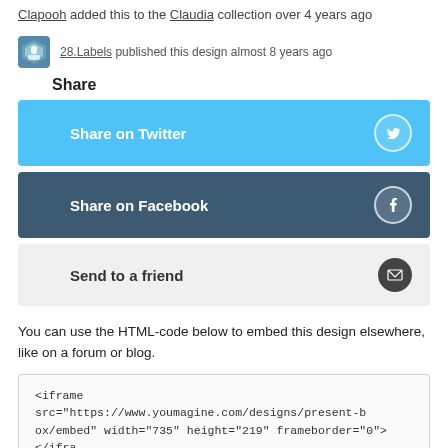Clapooh added this to the Claudia collection over 4 years ago
28.Labels published this design almost 8 years ago
Share
Share on Twitter
Share on Facebook
Send to a friend
You can use the HTML-code below to embed this design elsewhere, like on a forum or blog.
<iframe src="https://www.youmagine.com/designs/present-box/embed" width="735" height="219" frameborder="0"></iframe>